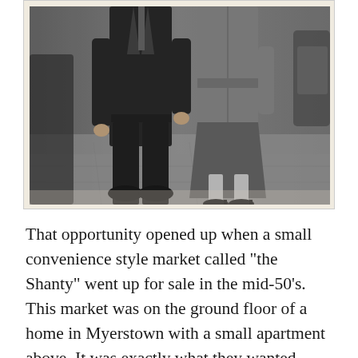[Figure (photo): Black and white vintage photograph of a man and woman standing together outdoors on a sidewalk. The man is on the left wearing a dark suit, the woman is on the right wearing a coat and heels. Their heads are cropped out of the frame.]
That opportunity opened up when a small convenience style market called “the Shanty” went up for sale in the mid-50’s. This market was on the ground floor of a home in Myerstown with a small apartment above. It was exactly what they wanted.